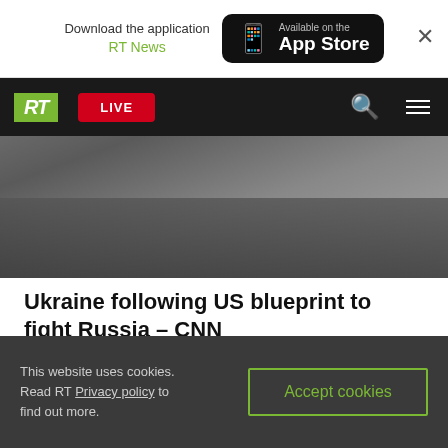Download the application RT News — Available on the App Store
[Figure (screenshot): RT news website navigation bar with green RT logo, red LIVE button, search and menu icons, over a photo of people on a street]
Ukraine following US blueprint to fight Russia – CNN
Turkey blasts Macron over 'imperialism' claims
Sacked Ukrainian ambassador lashes out at German official
Germany vows to support Ukraine 'for years'
This website uses cookies. Read RT Privacy policy to find out more. Accept cookies